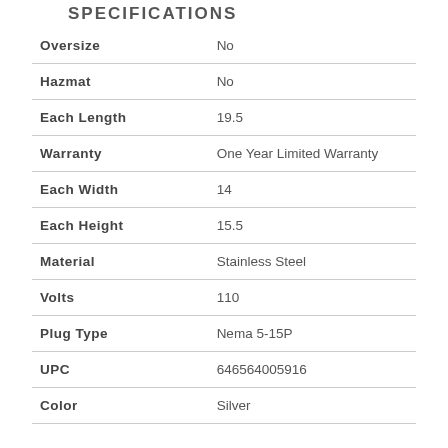SPECIFICATIONS
| Attribute | Value |
| --- | --- |
| Oversize | No |
| Hazmat | No |
| Each Length | 19.5 |
| Warranty | One Year Limited Warranty |
| Each Width | 14 |
| Each Height | 15.5 |
| Material | Stainless Steel |
| Volts | 110 |
| Plug Type | Nema 5-15P |
| UPC | 646564005916 |
| Color | Silver |